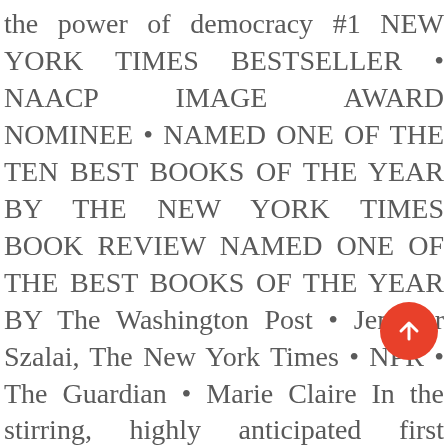the power of democracy #1 NEW YORK TIMES BESTSELLER • NAACP IMAGE AWARD NOMINEE • NAMED ONE OF THE TEN BEST BOOKS OF THE YEAR BY THE NEW YORK TIMES BOOK REVIEW NAMED ONE OF THE BEST BOOKS OF THE YEAR BY The Washington Post • Jennifer Szalai, The New York Times • NPR • The Guardian • Marie Claire In the stirring, highly anticipated first volume of his presidential memoirs, Barack Obama tells the story of his improbable odyssey from young man searching for his identity to leader of the free world, describing in strikingly personal detail both his political education and the landmark moments of the first term of his historic presidency—a time of dramatic transformation and turmoil. Obama takes readers on a compelling journey from his earliest political aspirations to the pivotal Iowa caucus victory that demonstrated the power of grassroots activism to the watershed night of November